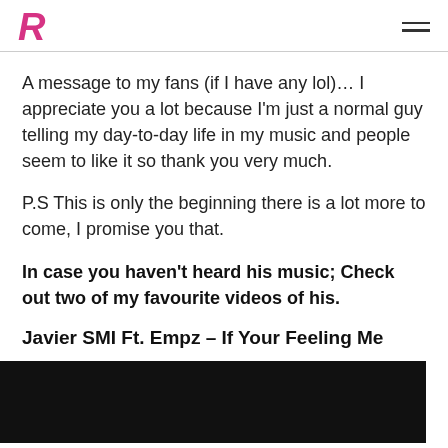R (logo) | hamburger menu
A message to my fans (if I have any lol)... I appreciate you a lot because I'm just a normal guy telling my day-to-day life in my music and people seem to like it so thank you very much.
P.S This is only the beginning there is a lot more to come, I promise you that.
In case you haven't heard his music; Check out two of my favourite videos of his.
Javier SMI Ft. Empz – If Your Feeling Me
[Figure (screenshot): Black video thumbnail area at the bottom of the page]